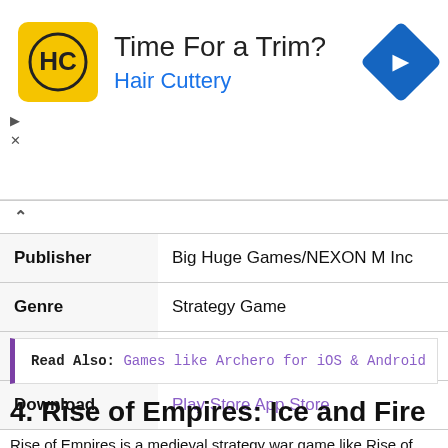[Figure (other): Advertisement banner for Hair Cuttery showing 'Time For a Trim?' headline with HC logo and navigation arrow icon. Small play/close ad control buttons visible.]
| Publisher | Big Huge Games/NEXON M Inc |
| Genre | Strategy Game |
| File Size | Android: 89 MB iOS: 257 MB |
| Download | Play Store App Store |
Read Also: Games like Archero for iOS & Android
4. Rise of Empires: Ice and Fire
Rise of Empires is a medieval strategy war game like Rise of